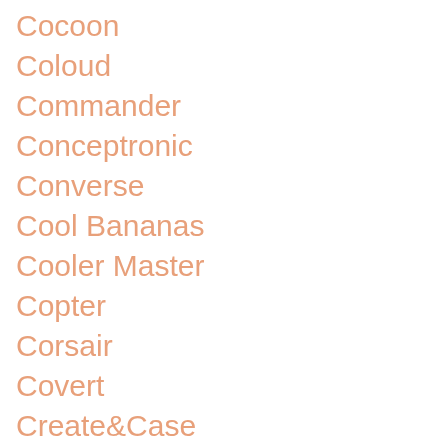Cocoon
Coloud
Commander
Conceptronic
Converse
Cool Bananas
Cooler Master
Copter
Corsair
Covert
Create&Case
Creative